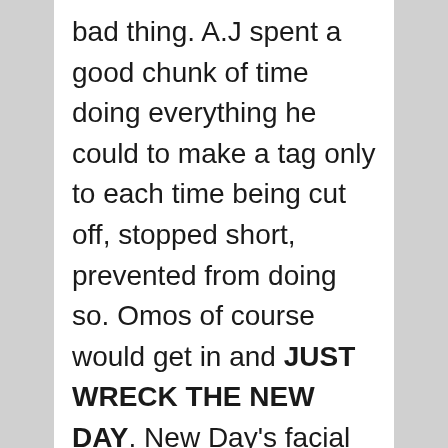bad thing. A.J spent a good chunk of time doing everything he could to make a tag only to each time being cut off, stopped short, prevented from doing so. Omos of course would get in and JUST WRECK THE NEW DAY. New Day's facial expressions, reactions did wonders for putting Omos over. What he did was simple but effective and all he needed to do. Omos came off as both the immovable object and irresistible force at the same time. A.J hit a phenomenal forearm off Omos's shoulder and I loved it. Omos scores the pin with ONE FOOT and I loved that decision. Put him over as dominant as possible. A.J